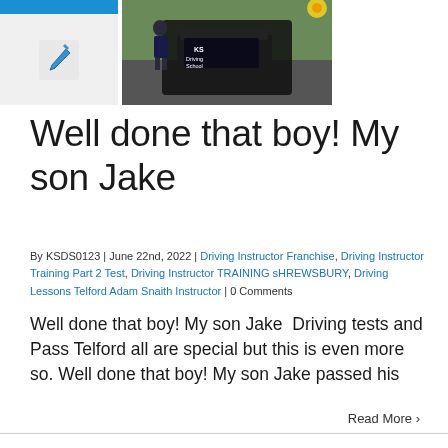[Figure (photo): Blue bar at top left, then a pen/edit icon on light grey background]
[Figure (photo): Photo of a person standing next to a KS Driving School car in a car park]
Well done that boy! My son Jake
By KSDS0123 | June 22nd, 2022 | Driving Instructor Franchise, Driving Instructor Training Part 2 Test, Driving Instructor TRAINING sHREWSBURY, Driving Lessons Telford Adam Snaith Instructor | 0 Comments
Well done that boy! My son Jake  Driving tests and Pass Telford all are special but this is even more so. Well done that boy! My son Jake passed his
Read More >